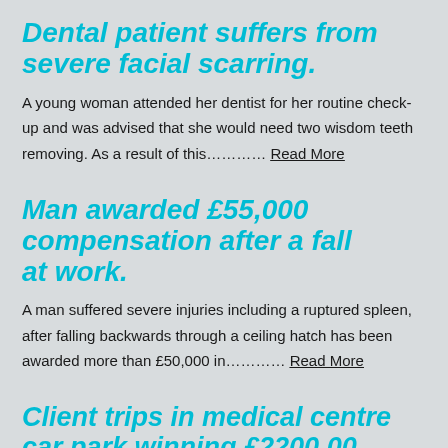Dental patient suffers from severe facial scarring.
A young woman attended her dentist for her routine check-up and was advised that she would need two wisdom teeth removing. As a result of this………… Read More
Man awarded £55,000 compensation after a fall at work.
A man suffered severe injuries including a ruptured spleen, after falling backwards through a ceiling hatch has been awarded more than £50,000 in………… Read More
Client trips in medical centre car park winning £2200.00